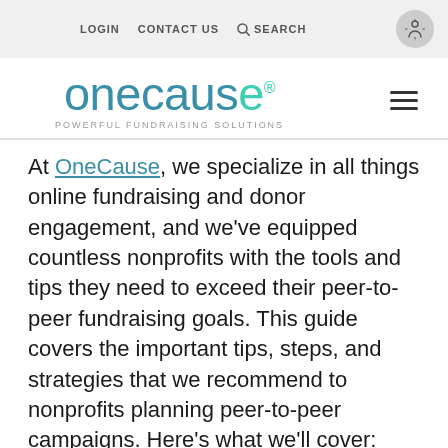LOGIN   CONTACT US   SEARCH
[Figure (logo): OneCause logo with tagline POWERFUL FUNDRAISING SOLUTIONS and hamburger menu icon]
At OneCause, we specialize in all things online fundraising and donor engagement, and we've equipped countless nonprofits with the tools and tips they need to exceed their peer-to-peer fundraising goals. This guide covers the important tips, steps, and strategies that we recommend to nonprofits planning peer-to-peer campaigns. Here's what we'll cover: